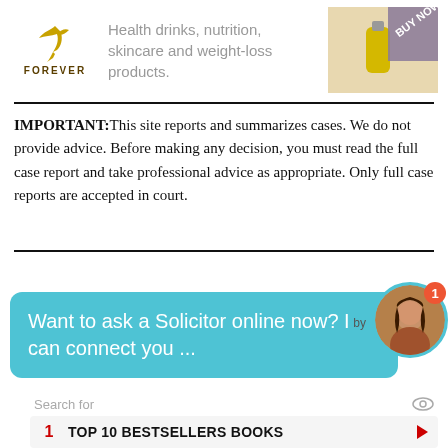[Figure (infographic): Forever Living Products advertisement banner with logo (golden eagle bird and FOREVER text), ad text about health drinks, nutrition, skincare and weight-loss products, and a BUY NOW banner on the right side]
IMPORTANT:This site reports and summarizes cases. We do not provide advice. Before making any decision, you must read the full case report and take professional advice as appropriate. Only full case reports are accepted in court.
[Figure (screenshot): Turquoise chat widget bubble saying 'Want to ask a Solicitor online now? I can connect you ...' with a circular avatar photo of a woman and a red notification badge showing '1']
[Figure (infographic): Search widget with 'Search for' label and eye icon, listing '1 TOP 10 BESTSELLERS BOOKS' and '2 2022 BEST KINDLE DEALS' with red arrows]